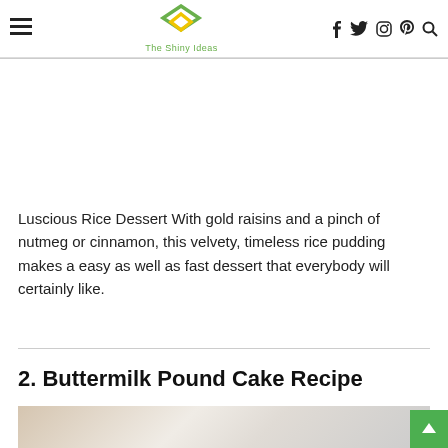The Shiny Ideas — navigation with hamburger menu and social icons (facebook, twitter, instagram, pinterest, search)
Luscious Rice Dessert With gold raisins and a pinch of nutmeg or cinnamon, this velvety, timeless rice pudding makes a easy as well as fast dessert that everybody will certainly like.
2. Buttermilk Pound Cake Recipe
[Figure (photo): Partial photo of Buttermilk Pound Cake, showing powdered-sugar-dusted cake pieces with a fork and napkin in the background.]